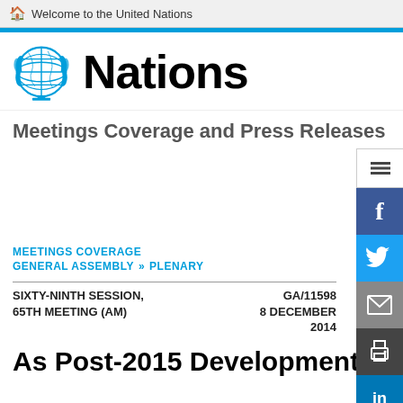Welcome to the United Nations
[Figure (logo): United Nations emblem logo with globe and laurel wreath in blue, with the text 'Nations' in large bold black font to its right]
Meetings Coverage and Press Releases
MEETINGS COVERAGE
GENERAL ASSEMBLY >> PLENARY
SIXTY-NINTH SESSION, 65TH MEETING (AM)
GA/11598
8 DECEMBER 2014
As Post-2015 Development